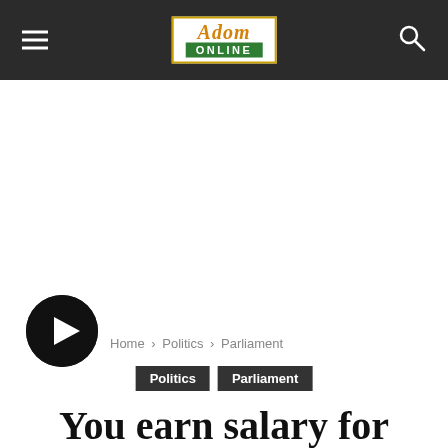Adom ONLINE — Navigation bar with hamburger menu and search icon
[Figure (logo): Adom Online logo — orange italic serif text 'Adom' above green bar with white bold text 'ONLINE', framed with gold border]
[Figure (other): White advertisement/blank space below nav bar]
[Figure (other): Black circular play button with white right-pointing triangle/play icon]
Home › Politics › Parliament
Politics   Parliament
You earn salary for doing